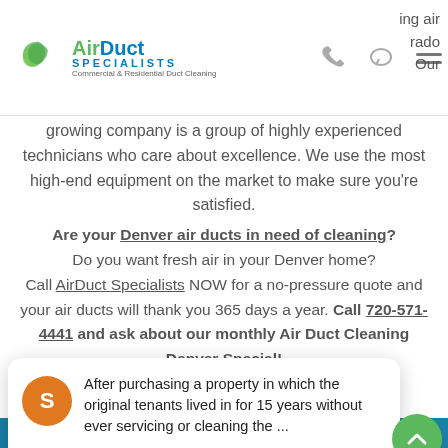AirDuct Specialists - Commercial & Residential Duct Cleaning
growing company is a group of highly experienced technicians who care about excellence. We use the most high-end equipment on the market to make sure you're satisfied. Are your Denver air ducts in need of cleaning? Do you want fresh air in your Denver home? Call AirDuct Specialists NOW for a no-pressure quote and your air ducts will thank you 365 days a year. Call 720-571-4441 and ask about our monthly Air Duct Cleaning Denver Special!
After purchasing a property in which the original tenants lived in for 15 years without ever servicing or cleaning the ...